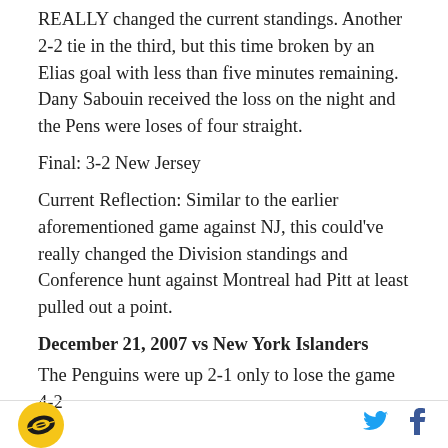REALLY changed the current standings. Another 2-2 tie in the third, but this time broken by an Elias goal with less than five minutes remaining. Dany Sabouin received the loss on the night and the Pens were loses of four straight.
Final: 3-2 New Jersey
Current Reflection: Similar to the earlier aforementioned game against NJ, this could've really changed the Division standings and Conference hunt against Montreal had Pitt at least pulled out a point.
December 21, 2007 vs New York Islanders
The Penguins were up 2-1 only to lose the game 4-2
Logo and social icons